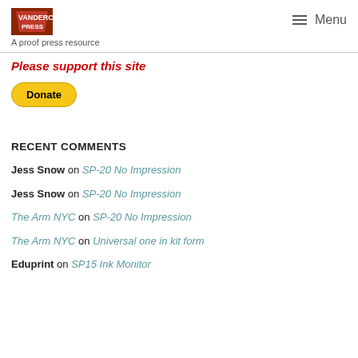Vandercook Press — A proof press resource | Menu
Please support this site
[Figure (other): Yellow PayPal Donate button]
RECENT COMMENTS
Jess Snow on SP-20 No Impression
Jess Snow on SP-20 No Impression
The Arm NYC on SP-20 No Impression
The Arm NYC on Universal one in kit form
Eduprint on SP15 Ink Monitor